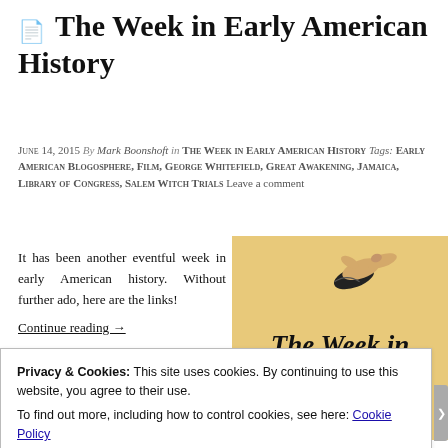The Week in Early American History
June 14, 2015  By  Mark Boonshoft  in  The Week in Early American History  Tags: Early American Blogosphere, Film, George Whitefield, Great Awakening, Jamaica, Library of Congress, Salem Witch Trials  Leave a comment
It has been another eventful week in early American history. Without further ado, here are the links!
Continue reading →
[Figure (illustration): Decorative banner image on tan/gold background showing a hand pointing right and the text 'The Week in Early American' in bold italic serif font]
Privacy & Cookies: This site uses cookies. By continuing to use this website, you agree to their use.
To find out more, including how to control cookies, see here: Cookie Policy
Close and accept